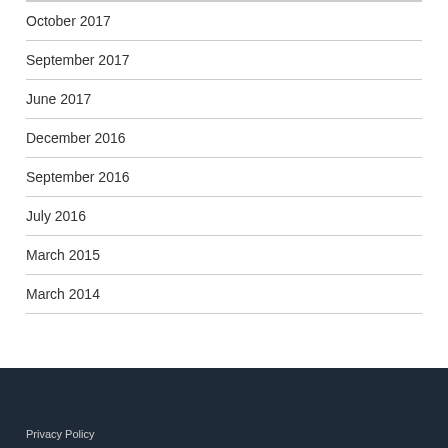October 2017
September 2017
June 2017
December 2016
September 2016
July 2016
March 2015
March 2014
Privacy Policy